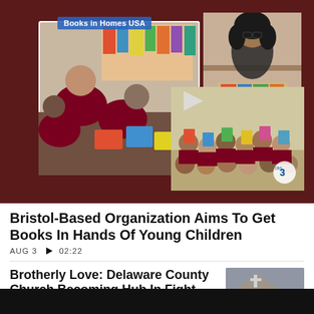[Figure (screenshot): CBS 3 news video thumbnail showing 'Books in Homes USA' with children reading books in a classroom setting, a woman with books, and a group of children holding books up.]
Bristol-Based Organization Aims To Get Books In Hands Of Young Children
AUG 3  ▶ 02:22
Brotherly Love: Delaware County Church Becoming Hub In Fight Against Hunger, And It's More Than Just
[Figure (photo): Thumbnail image of a church building with a cross sign, with a play button overlay.]
JUL 27  ▶ 02:31